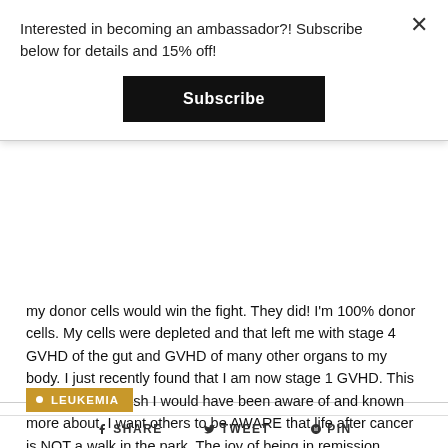Interested in becoming an ambassador?! Subscribe below for details and 15% off!
Subscribe
my donor cells would win the fight. They did! I'm 100% donor cells. My cells were depleted and that left me with stage 4 GVHD of the gut and GVHD of many other organs to my body. I just recently found that I am now stage 1 GVHD. This is something I wish I would have been aware of and known more about. I want others to be AWARE that life after cancer is NOT a walk in the park. The joy of being in remission brings peace, but for some, the fight remains." @tabbymariejenkins
• LEUKEMIA
SHARE   TWEET   PIN